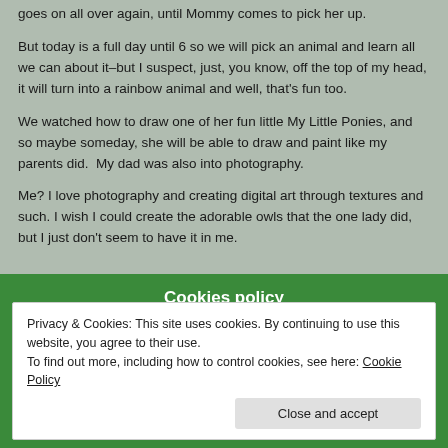goes on all over again, until Mommy comes to pick her up.
But today is a full day until 6 so we will pick an animal and learn all we can about it–but I suspect, just, you know, off the top of my head, it will turn into a rainbow animal and well, that's fun too.
We watched how to draw one of her fun little My Little Ponies, and so maybe someday, she will be able to draw and paint like my parents did.  My dad was also into photography.
Me? I love photography and creating digital art through textures and such. I wish I could create the adorable owls that the one lady did, but I just don't seem to have it in me.
Cookies policy
Privacy & Cookies: This site uses cookies. By continuing to use this website, you agree to their use.
To find out more, including how to control cookies, see here: Cookie Policy
Close and accept